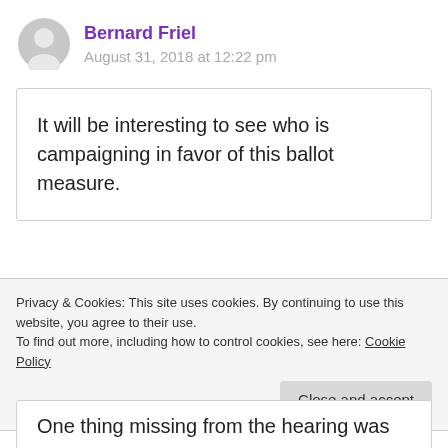Bernard Friel
August 31, 2018 at 12:22 pm
It will be interesting to see who is campaigning in favor of this ballot measure.
Privacy & Cookies: This site uses cookies. By continuing to use this website, you agree to their use.
To find out more, including how to control cookies, see here: Cookie Policy
Close and accept
One thing missing from the hearing was